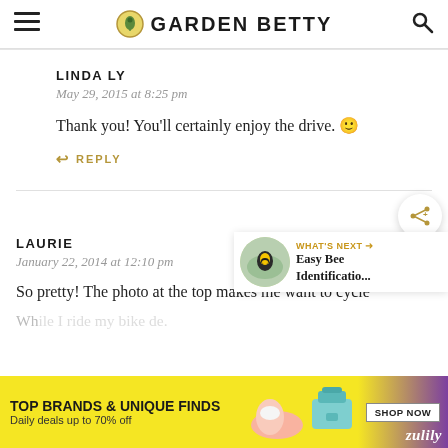GARDEN BETTY
LINDA LY
May 29, 2015 at 8:25 pm
Thank you! You'll certainly enjoy the drive. 🙂
↩ REPLY
LAURIE
January 22, 2014 at 12:10 pm
So pretty! The photo at the top makes me want to cycle
[Figure (screenshot): What's Next widget showing Easy Bee Identificatio... with a bee on flower thumbnail]
[Figure (infographic): Zulily advertisement: TOP BRANDS & UNIQUE FINDS, Daily deals up to 70% off, SHOP NOW button]